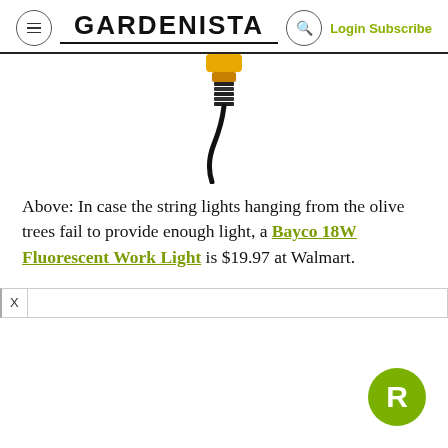GARDENISTA | Login Subscribe
[Figure (photo): Top portion of a yellow and black Bayco fluorescent work light with a black cord curving downward, shown against white background]
Above: In case the string lights hanging from the olive trees fail to provide enough light, a Bayco 18W Fluorescent Work Light is $19.97 at Walmart.